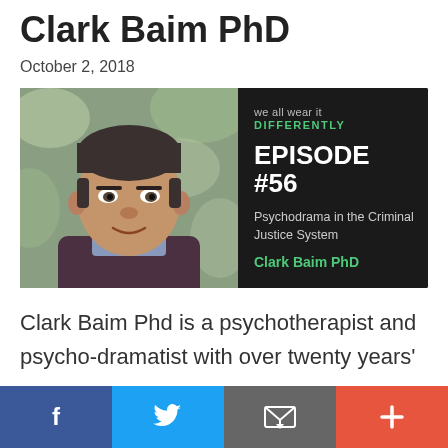Clark Baim PhD
October 2, 2018
[Figure (infographic): Podcast episode card with photo of Clark Baim PhD on left and dark panel on right showing: 'we all wear it DIFFERENTLY', 'EPISODE #56', 'Psychodrama in the Criminal Justice System', 'Clark Baim PhD']
Clark Baim Phd is a psychotherapist and psycho-dramatist with over twenty years'